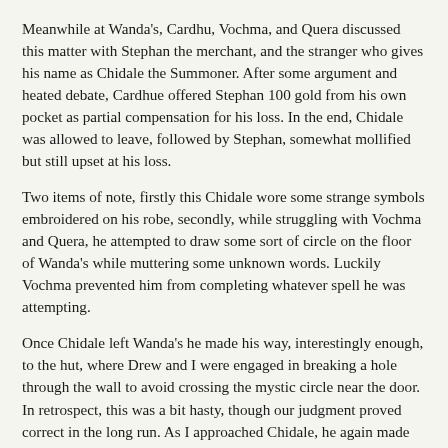Meanwhile at Wanda's, Cardhu, Vochma, and Quera discussed this matter with Stephan the merchant, and the stranger who gives his name as Chidale the Summoner. After some argument and heated debate, Cardhue offered Stephan 100 gold from his own pocket as partial compensation for his loss. In the end, Chidale was allowed to leave, followed by Stephan, somewhat mollified but still upset at his loss.
Two items of note, firstly this Chidale wore some strange symbols embroidered on his robe, secondly, while struggling with Vochma and Quera, he attempted to draw some sort of circle on the floor of Wanda's while muttering some unknown words. Luckily Vochma prevented him from completing whatever spell he was attempting.
Once Chidale left Wanda's he made his way, interestingly enough, to the hut, where Drew and I were engaged in breaking a hole through the wall to avoid crossing the mystic circle near the door. In retrospect, this was a bit hasty, though our judgment proved correct in the long run. As I approached Chidale, he again made some sort of strange gesture, this time towards me. The next thing I knew, I was back in town, attempting to hack Drew to pieces. After shaking off the remnants of whatever foul spell this Chidale had used, I saw to it that Drew was safely in the care of the healer then sought out my companions.